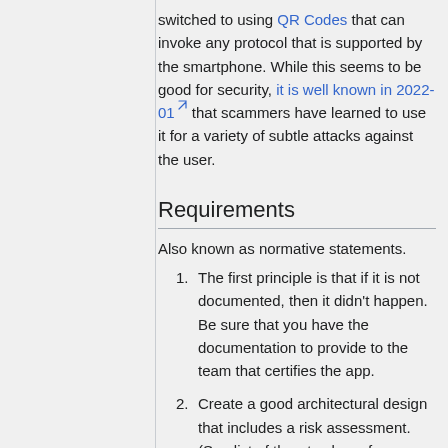switched to using QR Codes that can invoke any protocol that is supported by the smartphone. While this seems to be good for security, it is well known in 2022-01 that scammers have learned to use it for a variety of subtle attacks against the user.
Requirements
Also known as normative statements.
The first principle is that if it is not documented, then it didn't happen. Be sure that you have the documentation to provide to the team that certifies the app.
Create a good architectural design that includes a risk assessment. (See list of threats above for some ideas.)